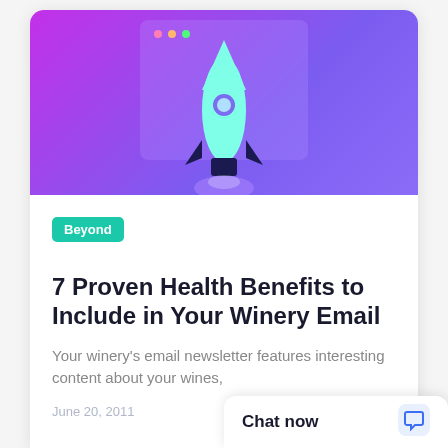[Figure (illustration): Rocket ship illustration on purple/violet gradient background, resembling a browser window or screen with a rocket launching from center]
Beyond
7 Proven Health Benefits to Include in Your Winery Email
Your winery's email newsletter features interesting content about your wines,
June 20, 2011
Chat now